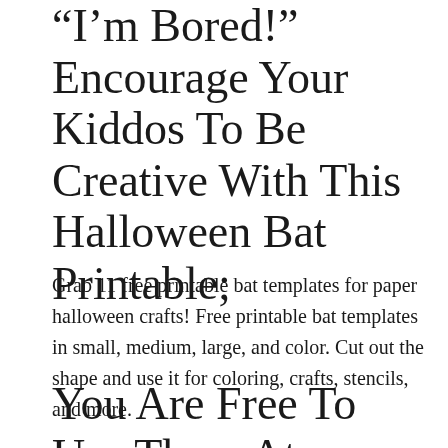Down With A Case Of The “I’m Bored!” Encourage Your Kiddos To Be Creative With This Halloween Bat Printable;
Grab 11 free printable bat templates for paper halloween crafts! Free printable bat templates in small, medium, large, and color. Cut out the shape and use it for coloring, crafts, stencils, and more.
You Are Free To Use Them At Home, In Your